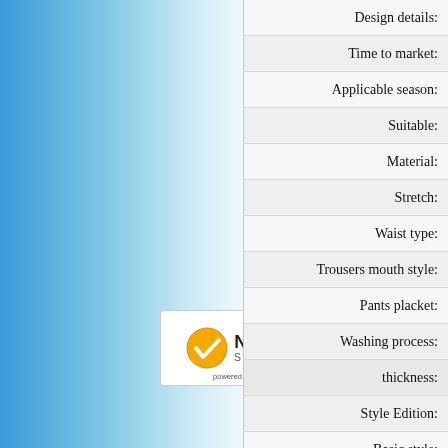| Label |
| --- |
| Design details: |
| Time to market: |
| Applicable season: |
| Suitable: |
| Material: |
| Stretch: |
| Waist type: |
| Trousers mouth style: |
| Pants placket: |
| Washing process: |
| thickness: |
| Style Edition: |
| Basic style: |
| Break down style: |
[Figure (logo): Norton Secured powered by VeriSign badge/logo]